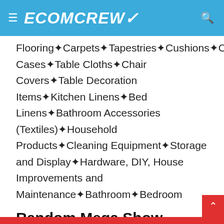ECOMCREW
Flooring▓Carpets▓Tapestries▓Cushions▓Cushion Cases▓Table Cloths▓Chair Covers▓Table Decoration Items▓Kitchen Linens▓Bed Linens▓Bathroom Accessories (Textiles)▓Household Products▓Cleaning Equipment▓Storage and Display▓Hardware, DIY, House Improvements and Maintenance▓Bathroom▓Bedroom
Random Mega Show Pictures
Just as you might imagine, it would be just about impossible to capture pictures that give you a